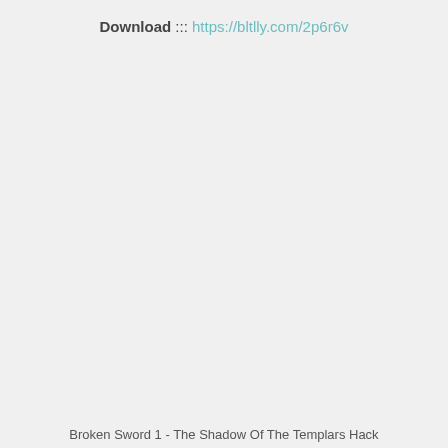Download ::: https://bltlly.com/2p6r6v
Broken Sword 1 - The Shadow Of The Templars Hack